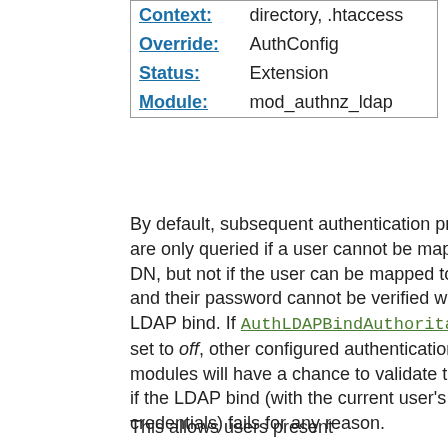| Context: | directory, .htaccess |
| Override: | AuthConfig |
| Status: | Extension |
| Module: | mod_authnz_ldap |
By default, subsequent authentication providers are only queried if a user cannot be mapped to a DN, but not if the user can be mapped to a DN and their password cannot be verified with an LDAP bind. If AuthLDAPBindAuthoritative is set to off, other configured authentication modules will have a chance to validate the user if the LDAP bind (with the current user's credentials) fails for any reason.
This allows users present...